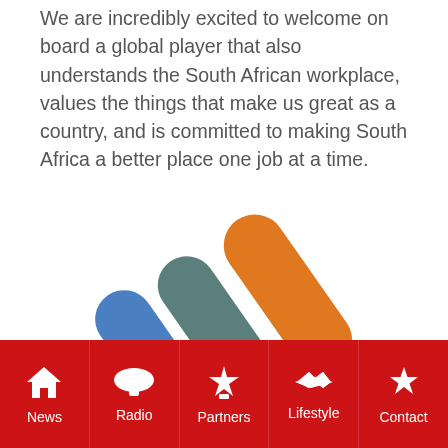We are incredibly excited to welcome on board a global player that also understands the South African workplace, values the things that make us great as a country, and is committed to making South Africa a better place one job at a time.
[Figure (logo): ManpowerGroup logo: three diagonal rounded bars in blue, teal/green, and orange, followed by the text 'ManpowerGroup' in bold blue with a registered trademark symbol]
News | Radio | Partners | Lifestyle | Contact